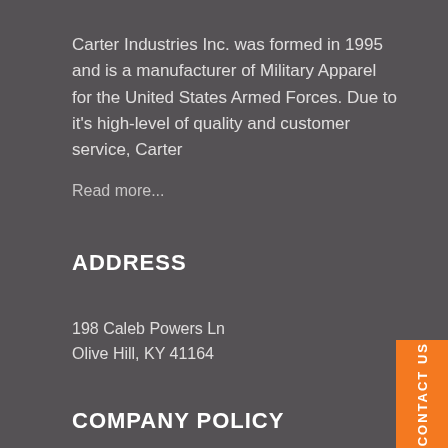Carter Industries Inc. was formed in 1995 and is a manufacturer of Military Apparel for the United States Armed Forces. Due to it's high-level of quality and customer service, Carter
Read more...
ADDRESS
198 Caleb Powers Ln
Olive Hill, KY 41164
COMPANY POLICY